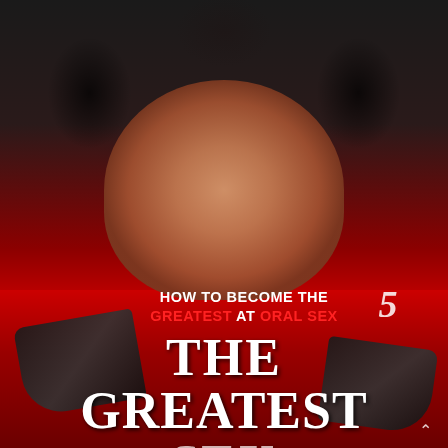[Figure (photo): Book cover showing a figure in black lace bodysuit on a red background, with high heels visible at the bottom]
HOW TO BECOME THE 5 GREATEST AT ORAL SEX
THE GREATEST SEX